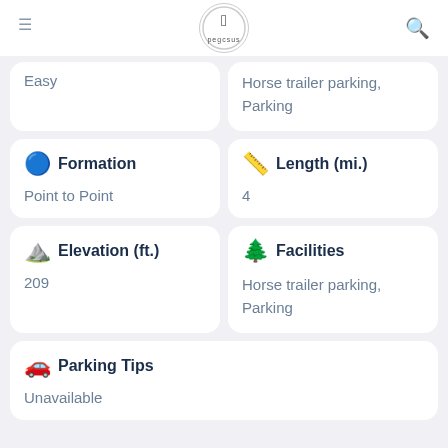pegcsus logo with hamburger menu and search icon
Easy
Horse trailer parking, Parking
Formation
Point to Point
Length (mi.)
4
Elevation (ft.)
209
Facilities
Horse trailer parking, Parking
Parking Tips
Unavailable